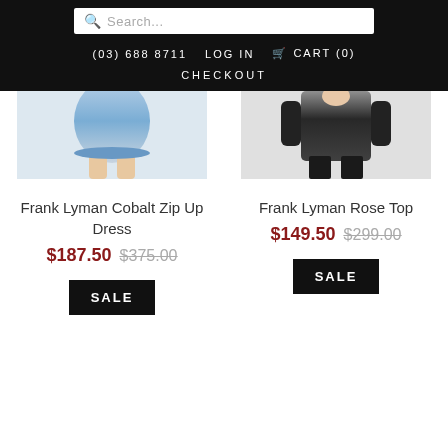Search... | (03) 688 8711 | LOG IN | CART (0) | CHECKOUT
[Figure (photo): Cropped bottom portion of a cobalt blue dress on a model]
Frank Lyman Cobalt Zip Up Dress
$187.50  $375.00
SALE
[Figure (photo): Cropped bottom portion of a dark top/blouse on a model]
Frank Lyman Rose Top
$149.50  $299.00
SALE